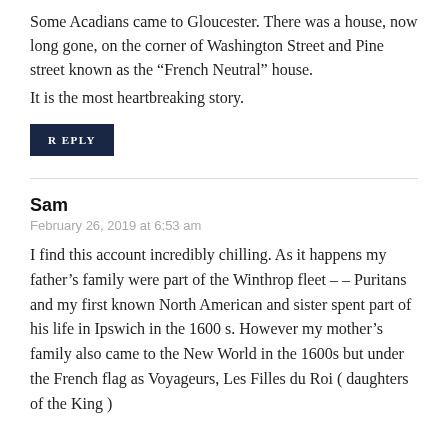Some Acadians came to Gloucester. There was a house, now long gone, on the corner of Washington Street and Pine street known as the “French Neutral” house.
It is the most heartbreaking story.
REPLY
Sam
February 26, 2019 at 6:53 am
I find this account incredibly chilling. As it happens my father’s family were part of the Winthrop fleet – – Puritans and my first known North American and sister spent part of his life in Ipswich in the 1600 s. However my mother’s family also came to the New World in the 1600s but under the French flag as Voyageurs, Les Filles du Roi ( daughters of the King )